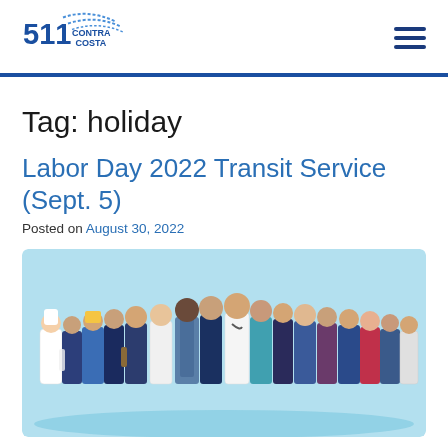511 Contra Costa
Tag: holiday
Labor Day 2022 Transit Service (Sept. 5)
Posted on August 30, 2022
[Figure (illustration): Cartoon illustration of a diverse group of workers representing various professions (chef, construction worker, pilot, doctor, nurse, mechanic, flight attendant, police officer, waiter, etc.) standing together on a light blue background.]